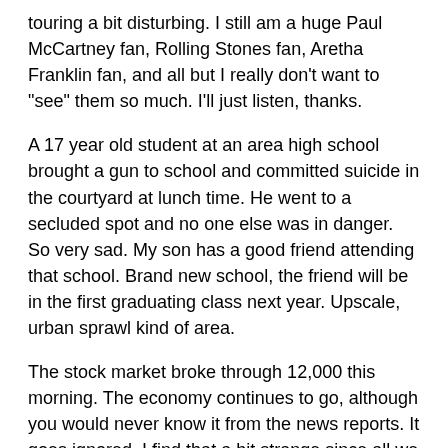touring a bit disturbing. I still am a huge Paul McCartney fan, Rolling Stones fan, Aretha Franklin fan, and all but I really don't want to "see" them so much. I'll just listen, thanks.
A 17 year old student at an area high school brought a gun to school and committed suicide in the courtyard at lunch time. He went to a secluded spot and no one else was in danger. So very sad. My son has a good friend attending that school. Brand new school, the friend will be in the first graduating class next year. Upscale, urban sprawl kind of area.
The stock market broke through 12,000 this morning. The economy continues to go, although you would never know it from the news reports. It goes ignored. I find that a bit strange since all we heard about during the previous administration was how booming the stock market was for those 8 years.
I paid $1.93 for gas yesterday.
Housing is slowing a bit nationwide but still booming here